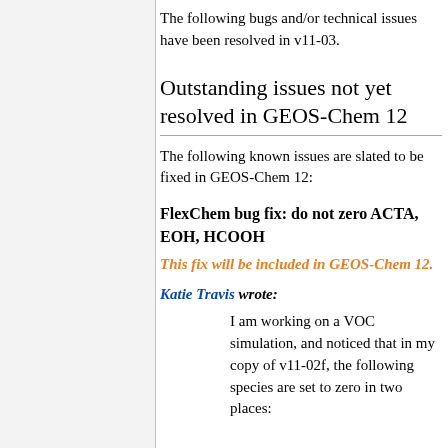The following bugs and/or technical issues have been resolved in v11-03.
Outstanding issues not yet resolved in GEOS-Chem 12
The following known issues are slated to be fixed in GEOS-Chem 12:
FlexChem bug fix: do not zero ACTA, EOH, HCOOH
This fix will be included in GEOS-Chem 12.
Katie Travis wrote:
I am working on a VOC simulation, and noticed that in my copy of v11-02f, the following species are set to zero in two places: